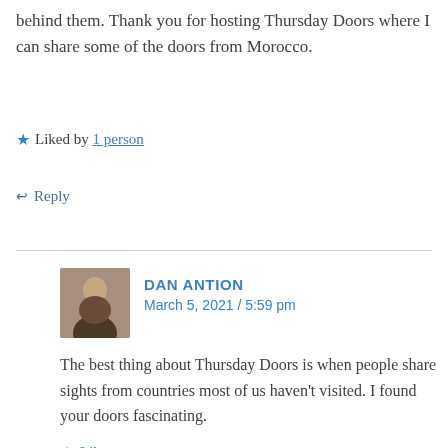behind them. Thank you for hosting Thursday Doors where I can share some of the doors from Morocco.
★ Liked by 1 person
↩ Reply
DAN ANTION
March 5, 2021 / 5:59 pm
The best thing about Thursday Doors is when people share sights from countries most of us haven't visited. I found your doors fascinating.
★ Like
↩ Reply